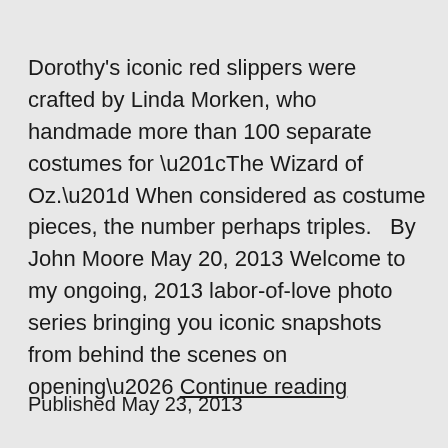Dorothy's iconic red slippers were crafted by Linda Morken, who handmade more than 100 separate costumes for “The Wizard of Oz.” When considered as costume pieces, the number perhaps triples.   By John Moore May 20, 2013 Welcome to my ongoing, 2013 labor-of-love photo series bringing you iconic snapshots from behind the scenes on opening… Continue reading
Published May 23, 2013